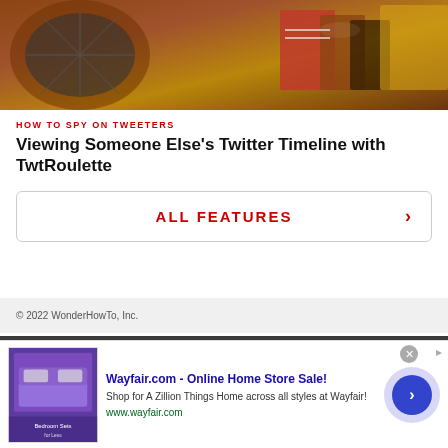[Figure (photo): Close-up photo of a roulette wheel with warm amber and red tones, showing the wheel segments and numbers]
HOW TO SPY ON TWEETERS
Viewing Someone Else's Twitter Timeline with TwtRoulette
ALL FEATURES ›
© 2022 WonderHowTo, Inc.
GadgetHacks.com   About Us   Terms of Use   Privacy Policy
Don't Miss:
20 Things You Can Do in Your Photos App in iOS 16 That You Couldn't Do Before
[Figure (infographic): Advertisement banner for Wayfair.com - Online Home Store Sale! with purple bedroom furniture image and navigation arrow circle]